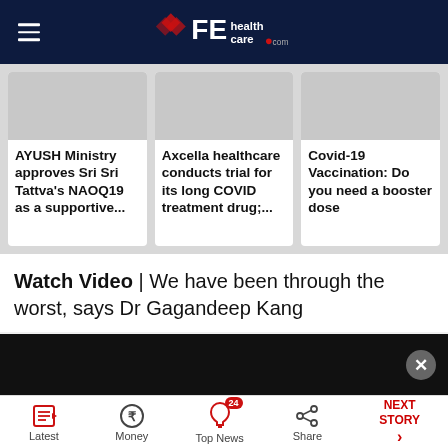FE healthcare .com
AYUSH Ministry approves Sri Sri Tattva's NAOQ19 as a supportive...
Axcella healthcare conducts trial for its long COVID treatment drug;...
Covid-19 Vaccination: Do you need a booster dose
Watch Video | We have been through the worst, says Dr Gagandeep Kang
[Figure (screenshot): Video player black area with close button]
Chantilly Dental Implant
Dental implant digital surgery
Open
Latest | Money | Top News 24 | Share | NEXT STORY